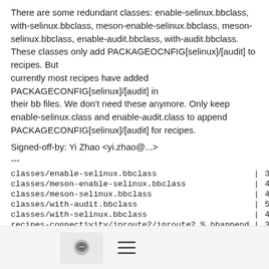There are some redundant classes: enable-selinux.bbclass, with-selinux.bbclass, meson-enable-selinux.bbclass, meson-selinux.bbclass, enable-audit.bbclass, with-audit.bbclass. These classes only add PACKAGEOCNFIG[selinux]/[audit] to recipes. But currently most recipes have added PACKAGECONFIG[selinux]/[audit] in their bb files. We don't need these anymore. Only keep enable-selinux.class and enable-audit.class to append PACKAGECONFIG[selinux]/[audit] for recipes.
Signed-off-by: Yi Zhao <yi.zhao@...>
---
| classes/enable-selinux.bbclass | | | 3 +-- |
| classes/meson-enable-selinux.bbclass | | | 4 ---- |
| classes/meson-selinux.bbclass | | | 4 ---- |
| classes/with-audit.bbclass | | | 5 ----- |
| classes/with-selinux.bbclass | | | 4 ---- |
| recipes-connectivity/iproute2/iproute2_%.bbappend | | | 3 ++- |
[Figure (other): Bottom toolbar with a comment/chat bubble icon button and a hamburger menu icon]